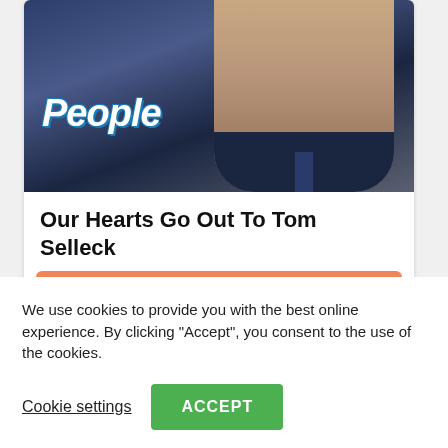[Figure (photo): People magazine branded advertisement card showing a man in a dark suit with mustache, with 'People' logo overlaid on the image]
Our Hearts Go Out To Tom Selleck
Read More >
Ads by Ad.Style
We use cookies to provide you with the best online experience. By clicking "Accept", you consent to the use of the cookies.
Cookie settings
ACCEPT